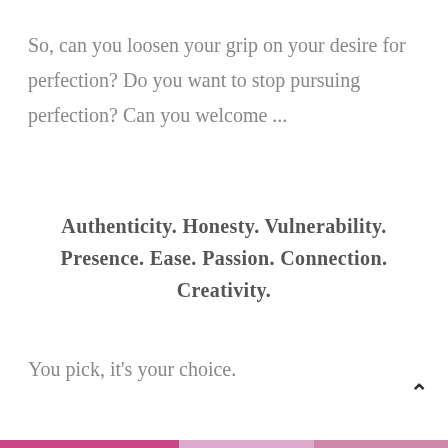So, can you loosen your grip on your desire for perfection? Do you want to stop pursuing perfection? Can you welcome ...
Authenticity. Honesty. Vulnerability. Presence. Ease. Passion. Connection. Creativity.
You pick, it's your choice.